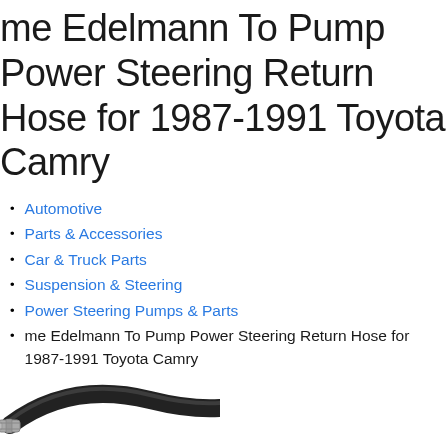me Edelmann To Pump Power Steering Return Hose for 1987-1991 Toyota Camry
Automotive
Parts & Accessories
Car & Truck Parts
Suspension & Steering
Power Steering Pumps & Parts
me Edelmann To Pump Power Steering Return Hose for 1987-1991 Toyota Camry
[Figure (photo): Partial view of a black power steering hose with metal fittings]